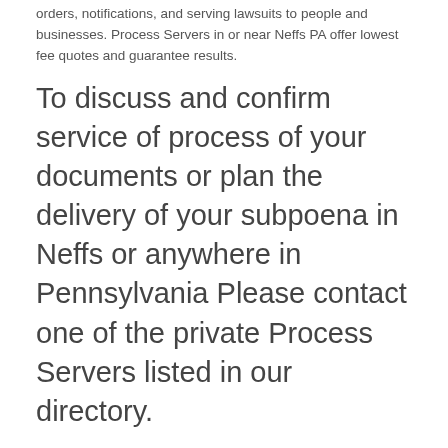orders, notifications, and serving lawsuits to people and businesses. Process Servers in or near Neffs PA offer lowest fee quotes and guarantee results.
To discuss and confirm service of process of your documents or plan the delivery of your subpoena in Neffs or anywhere in Pennsylvania Please contact one of the private Process Servers listed in our directory.
Process Servers in Neffs PA
All listed Process Servers are experienced with all types of process serving services in and near Neffs. Legal document and subpoena delivery services are guaranteed to be on time anywhere in Lehigh County, Pennsylvania.
When you are seeking information and a lowest fee quote, we urge you to